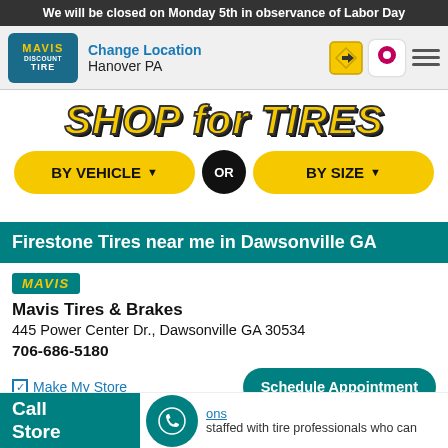We will be closed on Monday 5th in observance of Labor Day
[Figure (screenshot): Mavis Discount Tire logo with navigation bar showing Change Location / Hanover PA, direction icon, pin icon, and hamburger menu]
[Figure (screenshot): SHOP for TIRES banner with BY VEHICLE and BY SIZE yellow buttons and OR circle]
Firestone Tires near me in Dawsonville GA
[Figure (logo): MAVIS badge in teal background with yellow italic text]
Mavis Tires & Brakes
445 Power Center Dr., Dawsonville GA 30534
706-686-5180
✓ Make My Store   Schedule Appointment
Call Store   staffed with tire professionals who can